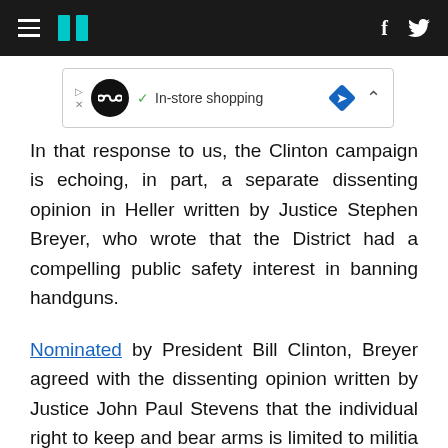HuffPost navigation with hamburger menu, logo, Facebook and Twitter icons
[Figure (screenshot): Advertisement banner showing in-store shopping with a circular logo, checkmark, and diamond navigation icon]
In that response to us, the Clinton campaign is echoing, in part, a separate dissenting opinion in Heller written by Justice Stephen Breyer, who wrote that the District had a compelling public safety interest in banning handguns.
Nominated by President Bill Clinton, Breyer agreed with the dissenting opinion written by Justice John Paul Stevens that the individual right to keep and bear arms is limited to militia service. There is “no indication that the Framers of the Amendment intended to enshrine the